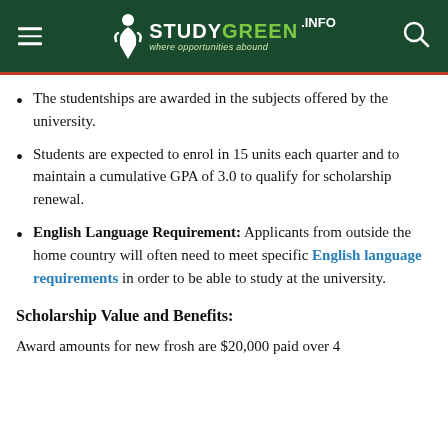STUDYGREEN.INFO — where opportunities abound
The studentships are awarded in the subjects offered by the university.
Students are expected to enrol in 15 units each quarter and to maintain a cumulative GPA of 3.0 to qualify for scholarship renewal.
English Language Requirement: Applicants from outside the home country will often need to meet specific English language requirements in order to be able to study at the university.
Scholarship Value and Benefits:
Award amounts for new frosh are $20,000 paid over 4